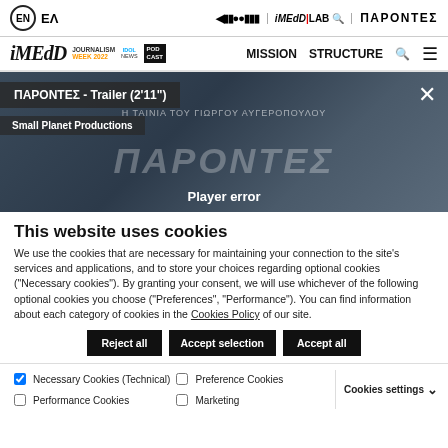EN ΕΛ | iMEdD LAB | ΠΑΡΟΝΤΕΣ
iMEdD JOURNALISM WEEK 2022 IDOL NEWS PODCAST | MISSION STRUCTURE
[Figure (screenshot): Video player showing ΠΑΡΟΝΤΕΣ - Trailer (2'11") by Small Planet Productions with Player error message overlay and close button]
This website uses cookies
We use the cookies that are necessary for maintaining your connection to the site's services and applications, and to store your choices regarding optional cookies ("Necessary cookies"). By granting your consent, we will use whichever of the following optional cookies you choose ("Preferences", "Performance"). You can find information about each category of cookies in the Cookies Policy of our site.
Reject all | Accept selection | Accept all
✓ Necessary Cookies (Technical) ☐ Preference Cookies ☐ Performance Cookies ☐ Marketing | Cookies settings